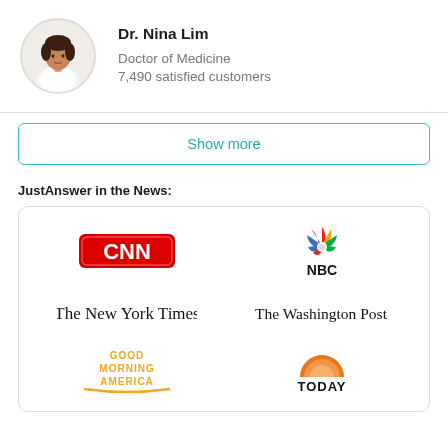[Figure (photo): Circular profile photo of Dr. Nina Lim in a white medical coat]
Dr. Nina Lim
Doctor of Medicine
7,490 satisfied customers
Show more
JustAnswer in the News:
[Figure (logo): Media logos: CNN, NBC, The New York Times, The Washington Post, Good Morning America, TODAY]